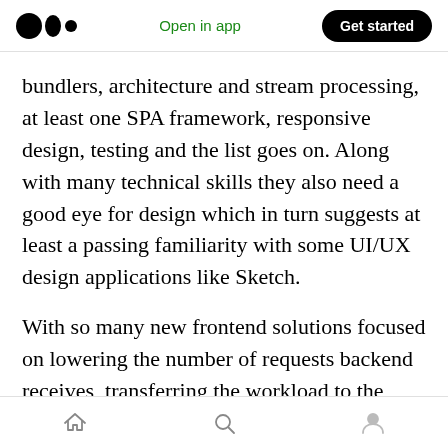Open in app | Get started
bundlers, architecture and stream processing, at least one SPA framework, responsive design, testing and the list goes on. Along with many technical skills they also need a good eye for design which in turn suggests at least a passing familiarity with some UI/UX design applications like Sketch.
With so many new frontend solutions focused on lowering the number of requests backend receives, transferring the workload to the browser, the job of frontend developers is only
Home | Search | Profile